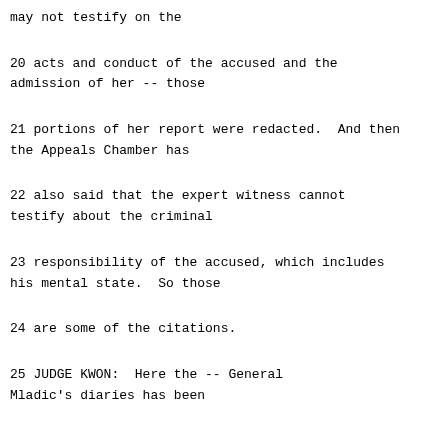may not testify on the
20     acts and conduct of the accused and the admission of her -- those
21     portions of her report were redacted.  And then the Appeals Chamber has
22     also said that the expert witness cannot testify about the criminal
23     responsibility of the accused, which includes his mental state.  So those
24     are some of the citations.
25          JUDGE KWON:  Here the -- General Mladic's diaries has been